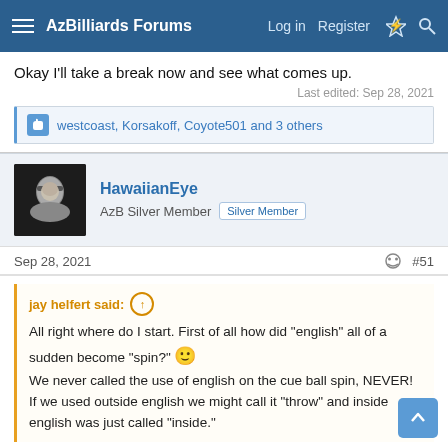AzBilliards Forums — Log in   Register
Okay I'll take a break now and see what comes up.
Last edited: Sep 28, 2021
westcoast, Korsakoff, Coyote501 and 3 others
HawaiianEye
AzB Silver Member   Silver Member
Sep 28, 2021   #51
jay helfert said: ↑

All right where do I start. First of all how did "english" all of a sudden become "spin?" 🙂
We never called the use of english on the cue ball spin, NEVER! If we used outside english we might call it "throw" and inside english was just called "inside."
Okay, I got that out of the way. Secondly, it's very hard to hit dead